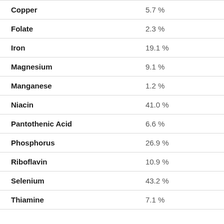| Nutrient | Daily Value |
| --- | --- |
| Copper | 5.7 % |
| Folate | 2.3 % |
| Iron | 19.1 % |
| Magnesium | 9.1 % |
| Manganese | 1.2 % |
| Niacin | 41.0 % |
| Pantothenic Acid | 6.6 % |
| Phosphorus | 26.9 % |
| Riboflavin | 10.9 % |
| Selenium | 43.2 % |
| Thiamine | 7.1 % |